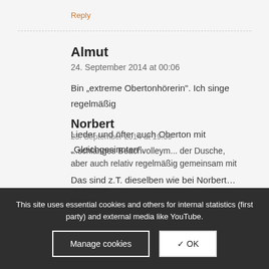Reply
Almut
24. September 2014 at 00:06
Bin „extreme Obertonhörerin“. Ich singe regelmäßig Lieder und öfter auch Oberton mit „Gleichgesinnten“. Das sind z.T. dieselben wie bei Norbert…
Reply
This site uses essential cookies and others for internal statistics (first party) and external media like YouTube.
Manage cookies
✓ OK
Norbert
23. September 2014 at 19:09
...schlanges Beachvolleym... der Dusche, aber auch relativ regelmäßig gemeinsam mit